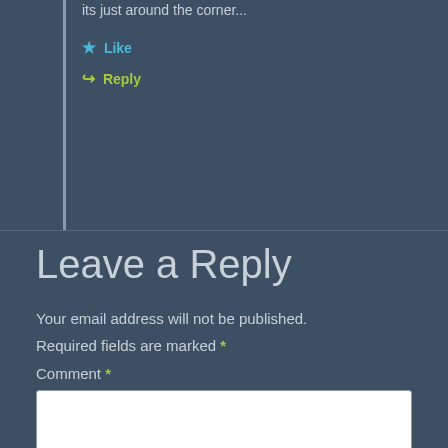its just around the corner...
★ Like
↪ Reply
Leave a Reply
Your email address will not be published.
Required fields are marked *
Comment *